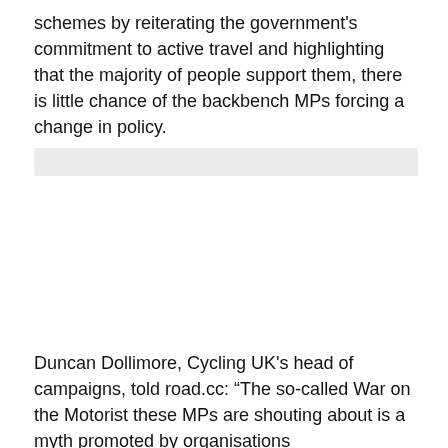schemes by reiterating the government's commitment to active travel and highlighting that the majority of people support them, there is little chance of the backbench MPs forcing a change in policy.
[Figure (other): A light grey horizontal bar, likely an image placeholder or redacted content area.]
Duncan Dollimore, Cycling UK's head of campaigns, told road.cc: “The so-called War on the Motorist these MPs are shouting about is a myth promoted by organisations